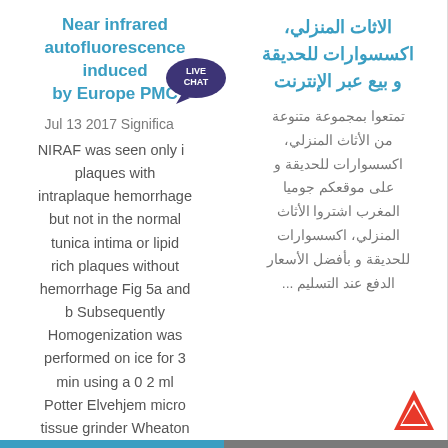Near infrared autofluorescence induced by Europe PMC
Jul 13 2017 Significant NIRAF was seen only in plaques with intraplaque hemorrhage but not in the normal tunica intima or lipid rich plaques without hemorrhage Fig 5a and b Subsequently Homogenization was performed on ice for 3 min using a 0 2 ml Potter Elvehjem micro tissue grinder Wheaton ... Internal
الاثات المنزلي، اكسسوارات للحديقة و بيع عبر الإنترنت
تمتعوا بمجموعة متنوعة من الأثاث المنزلي، اكسسوارات للحديقة و على موقعكم جوميا المغرب اشتروا الأثاث المنزلي، اكسسوارات للحديقة و بأفضل الأسعار الدفع عند التسليم ...